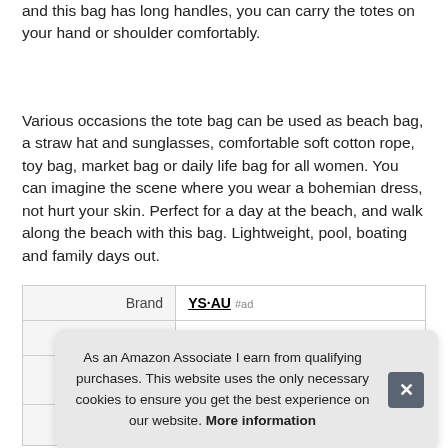and this bag has long handles, you can carry the totes on your hand or shoulder comfortably.
Various occasions the tote bag can be used as beach bag, a straw hat and sunglasses, comfortable soft cotton rope, toy bag, market bag or daily life bag for all women. You can imagine the scene where you wear a bohemian dress, not hurt your skin. Perfect for a day at the beach, and walk along the beach with this bag. Lightweight, pool, boating and family days out.
|  |  |
| --- | --- |
| Brand | YS·AU #ad |
| Manufacturer | YS·AU ... |
As an Amazon Associate I earn from qualifying purchases. This website uses the only necessary cookies to ensure you get the best experience on our website. More information